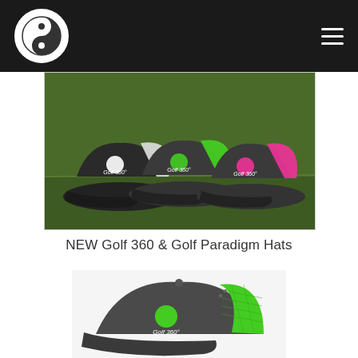Golf 360 logo and navigation
[Figure (photo): Three Golf 360 trucker hats displayed on grass: black/white, charcoal/green, and charcoal/pink, each with Golf 360 logo embroidery]
NEW Golf 360 & Golf Paradigm Hats
[Figure (photo): Close-up of a charcoal and neon green Golf 360 trucker hat with logo on the front panel]